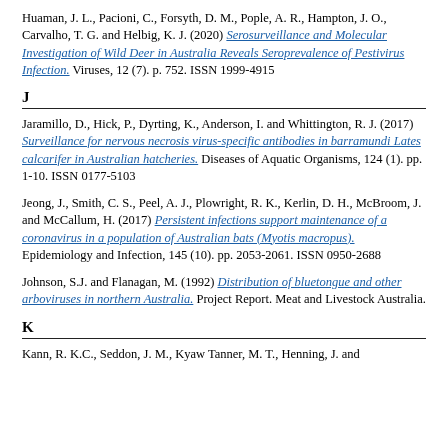Huaman, J. L., Pacioni, C., Forsyth, D. M., Pople, A. R., Hampton, J. O., Carvalho, T. G. and Helbig, K. J. (2020) Serosurveillance and Molecular Investigation of Wild Deer in Australia Reveals Seroprevalence of Pestivirus Infection. Viruses, 12 (7). p. 752. ISSN 1999-4915
J
Jaramillo, D., Hick, P., Dyrting, K., Anderson, I. and Whittington, R. J. (2017) Surveillance for nervous necrosis virus-specific antibodies in barramundi Lates calcarifer in Australian hatcheries. Diseases of Aquatic Organisms, 124 (1). pp. 1-10. ISSN 0177-5103
Jeong, J., Smith, C. S., Peel, A. J., Plowright, R. K., Kerlin, D. H., McBroom, J. and McCallum, H. (2017) Persistent infections support maintenance of a coronavirus in a population of Australian bats (Myotis macropus). Epidemiology and Infection, 145 (10). pp. 2053-2061. ISSN 0950-2688
Johnson, S.J. and Flanagan, M. (1992) Distribution of bluetongue and other arboviruses in northern Australia. Project Report. Meat and Livestock Australia.
K
Kann, R. K.C., Seddon, J. M., Kyaw Tanner, M. T., Henning, J. and